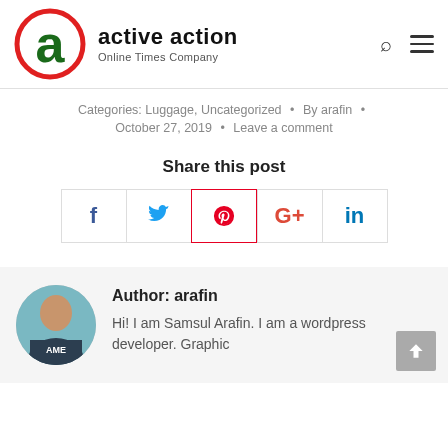[Figure (logo): Active Action logo: large lowercase 'a' in green inside a red circle, with brand name 'active action' and tagline 'Online Times Company']
Categories: Luggage, Uncategorized • By arafin • October 27, 2019 • Leave a comment
Share this post
[Figure (other): Social share buttons: Facebook (f), Twitter bird, Pinterest (p circle), Google+ (G+), LinkedIn (in) — each in a bordered box]
[Figure (photo): Circular photo of Samsul Arafin, a young man in a dark hoodie with 'AME' text, blurred background]
Author: arafin
Hi! I am Samsul Arafin. I am a wordpress developer. Graphic